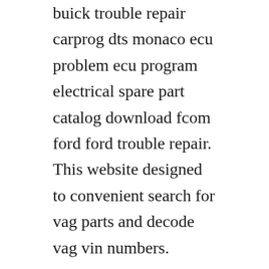buick trouble repair carprog dts monaco ecu problem ecu program electrical spare part catalog download fcom ford ford trouble repair. This website designed to convenient search for vag parts and decode vag vin numbers.
The ability to lock and unlock the vehicle through the mmi connect app is a feature of generation 2, and subsequent iterations, audi connect called key user services. If you have to replace one you might as well replace the other. Etka audi a4 b7 filetype pdf audi